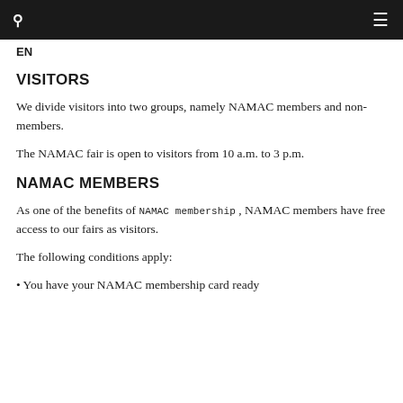🔍  ≡
EN
VISITORS
We divide visitors into two groups, namely NAMAC members and non-members.
The NAMAC fair is open to visitors from 10 a.m. to 3 p.m.
NAMAC MEMBERS
As one of the benefits of NAMAC membership , NAMAC members have free access to our fairs as visitors.
The following conditions apply:
You have your NAMAC membership card ready